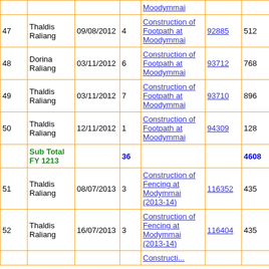| # | Name | Date | Ward | Work | Ref | Amount | Col8 |
| --- | --- | --- | --- | --- | --- | --- | --- |
| 47 | Thaldis Raliang | 09/08/2012 | 4 | Construction of Footpath at Moodymmai | 92885 | 512 | 0 |
| 48 | Dorina Raliang | 03/11/2012 | 6 | Construction of Footpath at Moodymmai | 93712 | 768 | 0 |
| 49 | Thaldis Raliang | 03/11/2012 | 7 | Construction of Footpath at Moodymmai | 93710 | 896 | 0 |
| 50 | Thaldis Raliang | 12/11/2012 | 1 | Construction of Footpath at Moodymmai | 94309 | 128 | 0 |
|  | Sub Total FY 1213 |  | 36 |  |  | 4608 | 0 |
| 51 | Thaldis Raliang | 08/07/2013 | 3 | Construction of Fencing at Modymmai (2013-14) | 116352 | 435 | 0 |
| 52 | Thaldis Raliang | 16/07/2013 | 3 | Construction of Fencing at Modymmai (2013-14) | 116404 | 435 | 0 |